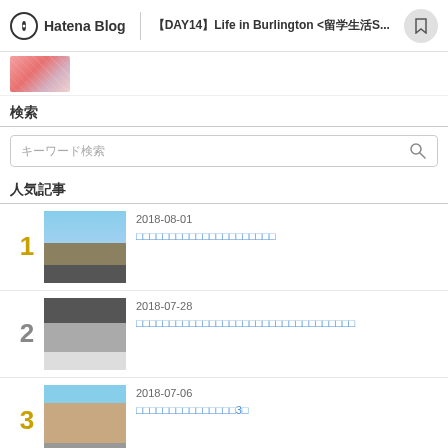Hatena Blog | 【DAY14】Life in Burlington <留学生活S...
[Figure (photo): Partial thumbnail image strip at top]
検索
キーワード検索 (search box placeholder)
人気記事
1  2018-08-01  □□□□□□□□□□□□□□□□□□□□□
2  2018-07-28  □□□□□□□□□□□□□□□□□□□□□□□□□□□□□□□□□
3  2018-07-06  □□□□□□□□□□□□□□□□□□3□